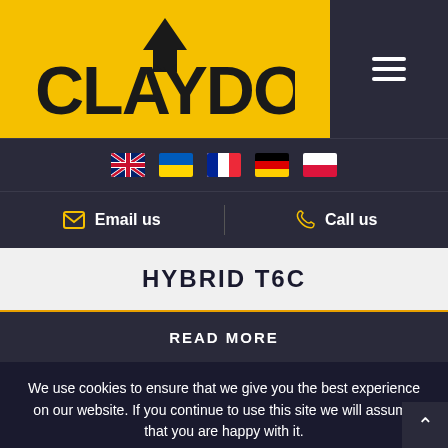[Figure (logo): Claydon logo — bold black CLAYDON text with arrow/spade icon on yellow background]
[Figure (infographic): Language selector flags: UK, Ukraine, France, Germany, Poland]
Email us
Call us
HYBRID T6C
READ MORE
We use cookies to ensure that we give you the best experience on our website. If you continue to use this site we will assume that you are happy with it.
Ok
More info